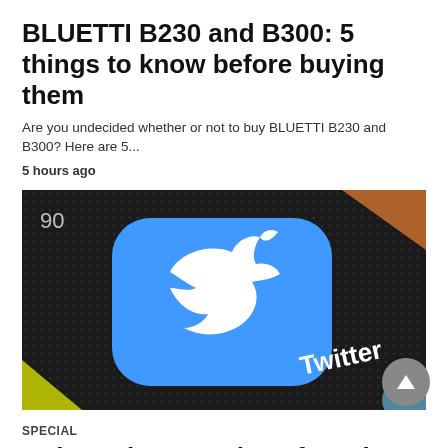BLUETTI B230 and B300: 5 things to know before buying them
Are you undecided whether or not to buy BLUETTI B230 and B300? Here are 5...
5 hours ago
[Figure (photo): Close-up photo of a smartphone screen showing the Twitter app icon (blue rounded square with white bird logo) on a dark dotted background, with the word 'Twitter' visible in white text.]
SPECIAL
Twitter share market after Elon Musk's 9%...